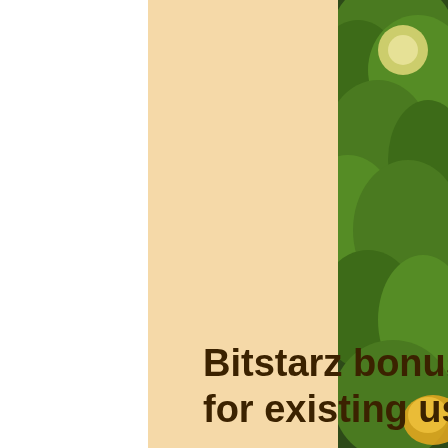[Figure (photo): A photo of green leafy foliage with sunlight shining through, positioned on the right side of the page]
Bitstarz bonus senza deposito codes for existing users
The casino will offer you the address of the wallet that you will copy and paste back to your wallet, on the exchange platform you use, and his way allows access to your digital money, bitstarz bonus senza deposito codes for existing users. In a matter of minutes, the approved amount will be turned into your deposit and you can start trying your luck. Learn about the advantages of this